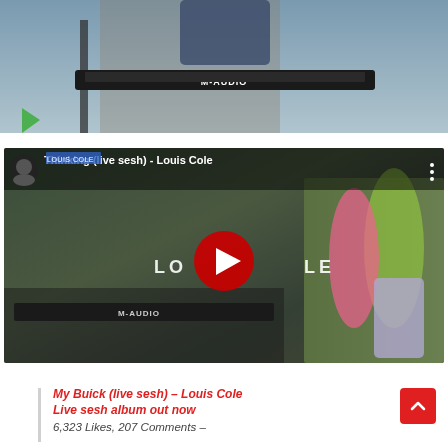[Figure (screenshot): Top portion of a video thumbnail showing a person playing an M-AUDIO keyboard with a green play button overlay in the lower left]
[Figure (screenshot): YouTube video embed showing 'Thinking (live sesh) - Louis Cole' with a group of people outdoors, a red YouTube play button in the center, and M-AUDIO keyboard at the bottom]
My Buick (live sesh) – Louis Cole
Live sesh album out now
6,323 Likes, 207 Comments –